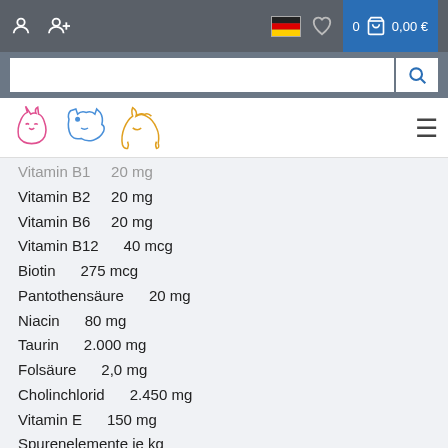Navigation bar with user icons, flag, heart, cart (0, 0,00 €)
Vitamin B1    20 mg
Vitamin B2    20 mg
Vitamin B6    20 mg
Vitamin B12    40 mcg
Biotin    275 mcg
Pantothensäure    20 mg
Niacin    80 mg
Taurin    2.000 mg
Folsäure    2,0 mg
Cholinchlorid    2.450 mg
Vitamin E    150 mg
Spurenelemente je kg
Zink (als Aminosäure-Zinkchelat, Hydrat)    40 mg
Kupfer (als Kupfer-(II)-Sulfat, Pentahydrat)    10 mg
Jod (als Calciumjodat, wasserfrei)    2,0 mg
Selen (als Natriumselenit)    0,2 mg